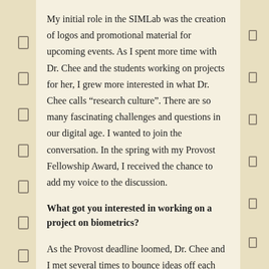My initial role in the SIMLab was the creation of logos and promotional material for upcoming events. As I spent more time with Dr. Chee and the students working on projects for her, I grew more interested in what Dr. Chee calls “research culture”. There are so many fascinating challenges and questions in our digital age. I wanted to join the conversation. In the spring with my Provost Fellowship Award, I received the chance to add my voice to the discussion.
What got you interested in working on a project on biometrics?
As the Provost deadline loomed, Dr. Chee and I met several times to bounce ideas off each other. One day we were discussing advertising in gaming when almost out